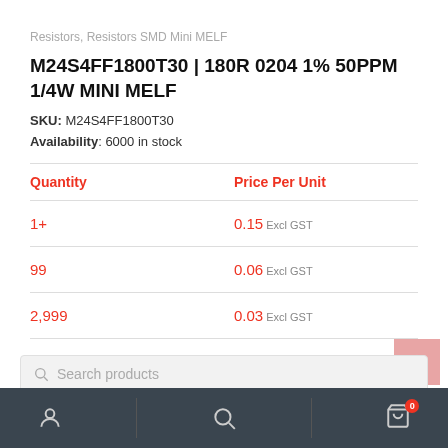Resistors, Resistors SMD Mini MELF
M24S4FF1800T30 | 180R 0204 1% 50PPM 1/4W MINI MELF
SKU: M24S4FF1800T30
Availability: 6000 in stock
| Quantity | Price Per Unit |
| --- | --- |
| 1+ | 0.15 Excl GST |
| 99 | 0.06 Excl GST |
| 2,999 | 0.03 Excl GST |
Search products | Account | Search | Cart (0)